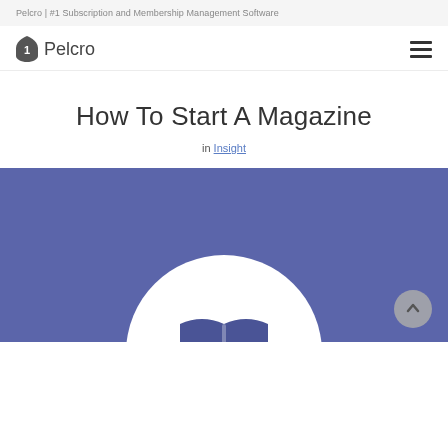Pelcro | #1 Subscription and Membership Management Software
[Figure (logo): Pelcro logo with shield icon and wordmark]
How To Start A Magazine
in Insight
[Figure (illustration): Purple/blue banner image with white circle containing a dark blue open book icon, and a scroll-to-top button in the bottom right corner]